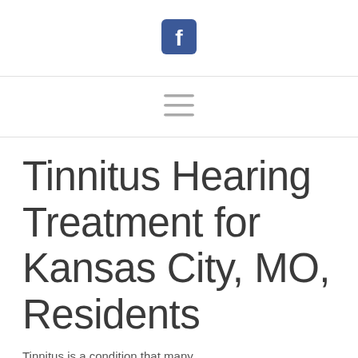[Figure (logo): Facebook social media icon — white 'f' on blue rounded square background]
[Figure (other): Hamburger menu icon — three horizontal grey lines]
Tinnitus Hearing Treatment for Kansas City, MO, Residents
Tinnitus is a condition that many